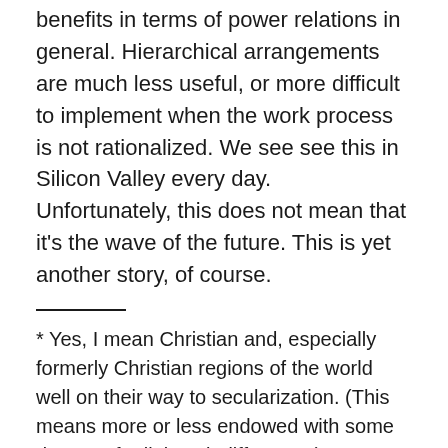benefits in terms of power relations in general. Hierarchical arrangements are much less useful, or more difficult to implement when the work process is not rationalized. We see see this in Silicon Valley every day. Unfortunately, this does not mean that it’s the wave of the future. This is yet another story, of course.
* Yes, I mean Christian and, especially formerly Christian regions of the world well on their way to secularization. (This means more or less endowed with some degree of religious indifference.)
** I suspect that the apprenticeship time